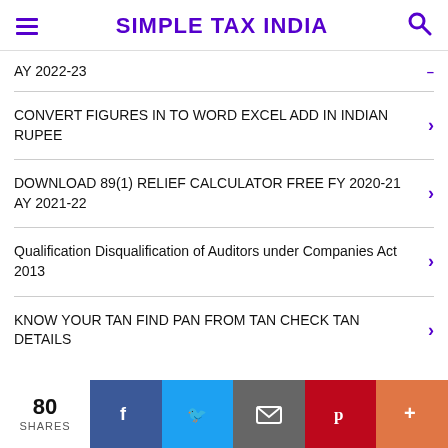SIMPLE TAX INDIA
AY 2022-23
CONVERT FIGURES IN TO WORD EXCEL ADD IN INDIAN RUPEE
DOWNLOAD 89(1) RELIEF CALCULATOR FREE FY 2020-21 AY 2021-22
Qualification Disqualification of Auditors under Companies Act 2013
KNOW YOUR TAN FIND PAN FROM TAN CHECK TAN DETAILS
80 SHARES | Facebook | Twitter | Email | Pinterest | More